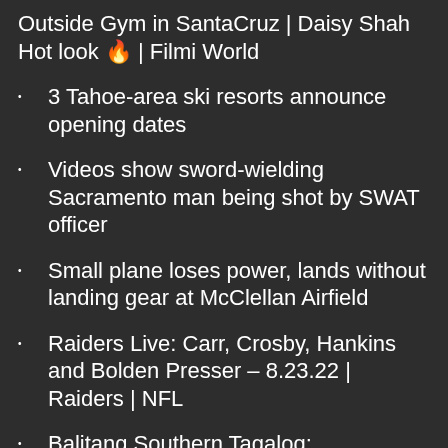Outside Gym in SantaCruz | Daisy Shah Hot look 🔥 | Filmi World
3 Tahoe-area ski resorts announce opening dates
Videos show sword-wielding Sacramento man being shot by SWAT officer
Small plane loses power, lands without landing gear at McClellan Airfield
Raiders Live: Carr, Crosby, Hankins and Bolden Presser – 8.23.22 | Raiders | NFL
Balitang Southern Tagalog: Negosyante, Patay sa Pamamaril